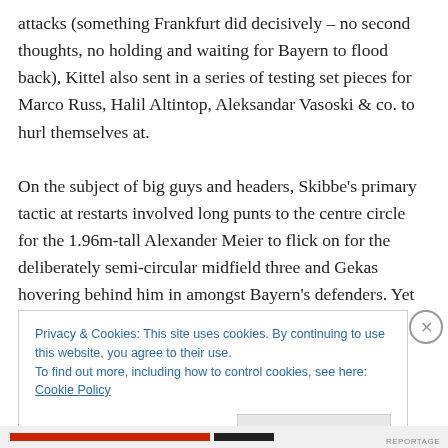attacks (something Frankfurt did decisively – no second thoughts, no holding and waiting for Bayern to flood back), Kittel also sent in a series of testing set pieces for Marco Russ, Halil Altintop, Aleksandar Vasoski & co. to hurl themselves at.

On the subject of big guys and headers, Skibbe's primary tactic at restarts involved long punts to the centre circle for the 1.96m-tall Alexander Meier to flick on for the deliberately semi-circular midfield three and Gekas hovering behind him in amongst Bayern's defenders. Yet
Privacy & Cookies: This site uses cookies. By continuing to use this website, you agree to their use.
To find out more, including how to control cookies, see here: Cookie Policy